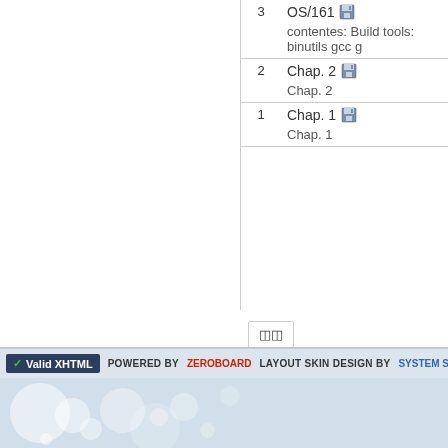| # | Content |
| --- | --- |
| 3 | OS/161 [save icon]
contentes: Build tools: binutils gcc g |
| 2 | Chap. 2 [save icon]
Chap. 2 |
| 1 | Chap. 1 [save icon]
Chap. 1 |
◫◫
✓ Valid XHTML   POWERED BY ZEROBOARD   LAYOUT SKIN DESIGN BY SYSTEM SOFTWARE LA